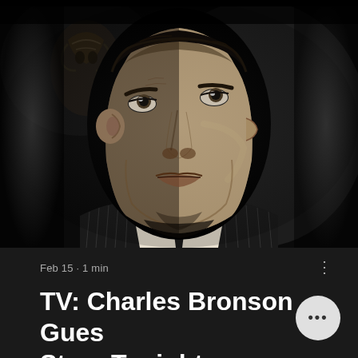[Figure (photo): Black and white close-up photograph of Charles Bronson, a middle-aged man with dark slicked hair, wearing a pinstripe suit and tie, looking upward with a strong jawline and intense expression. A decorative figure is visible in the background to the upper left.]
Feb 15 · 1 min
TV: Charles Bronson Guest Stars Tonight on "The